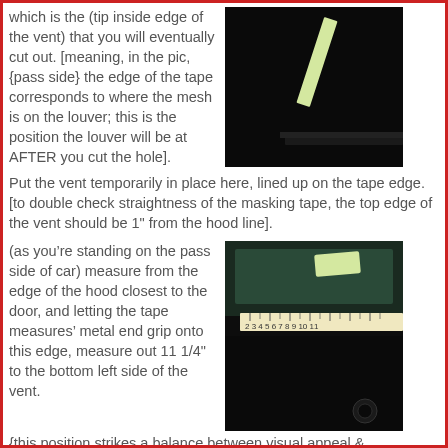which is the (tip inside edge of the vent) that you will eventually cut out. [meaning, in the pic, {pass side} the edge of the tape corresponds to where the mesh is on the louver; this is the position the louver will be at AFTER you cut the hole].
[Figure (photo): Dark photo showing a strip of masking tape on a black car hood surface, with a light-colored diagonal strip visible.]
Put the vent temporarily in place here, lined up on the tape edge.
[to double check straightness of the masking tape, the top edge of the vent should be 1" from the hood line].
(as you're standing on the pass side of car) measure from the edge of the hood closest to the door, and letting the tape measures' metal end grip onto this edge, measure out 11 1/4" to the bottom left side of the vent.
[Figure (photo): Photo showing a tape measure laid across a car hood edge with masking tape, measuring approximately 10-11 inches. Car hood is black.]
{this position strikes a balance between visual appeal &